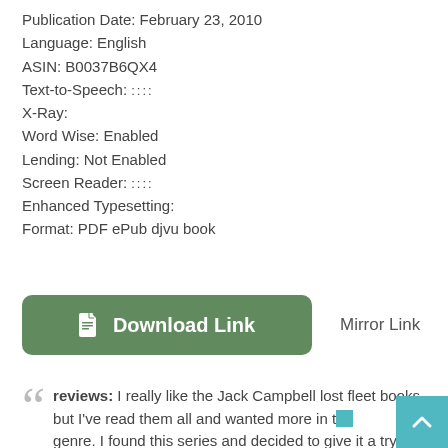Publication Date: February 23, 2010
Language: English
ASIN: B0037B6QX4
Text-to-Speech: ::::
X-Ray:
Word Wise: Enabled
Lending: Not Enabled
Screen Reader: ::::
Enhanced Typesetting:
Format: PDF ePub djvu book
[Figure (other): Green rounded button labeled 'Download Link' with document icon, and 'Mirror Link' text to the right]
reviews: I really like the Jack Campbell lost fleet books, but I've read them all and wanted more in the genre. I found this series and decided to give it a try. It